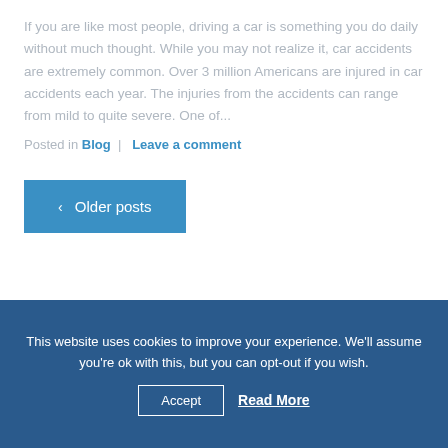If you are like most people, driving a car is something you do daily without much thought. While you may not realize it, car accidents are extremely common. Over 3 million Americans are injured in car accidents each year. The injuries from the accidents can range from mild to quite severe. One of...
Posted in Blog | Leave a comment
‹ Older posts
This website uses cookies to improve your experience. We'll assume you're ok with this, but you can opt-out if you wish.
Accept   Read More